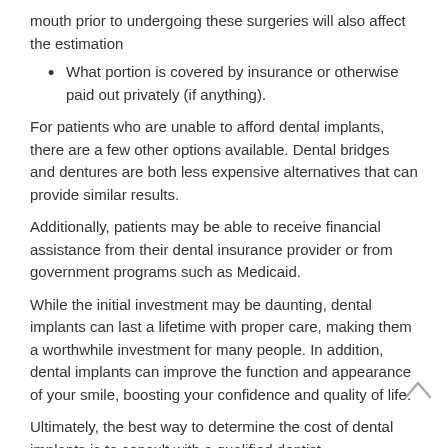mouth prior to undergoing these surgeries will also affect the estimation
What portion is covered by insurance or otherwise paid out privately (if anything).
For patients who are unable to afford dental implants, there are a few other options available. Dental bridges and dentures are both less expensive alternatives that can provide similar results.
Additionally, patients may be able to receive financial assistance from their dental insurance provider or from government programs such as Medicaid.
While the initial investment may be daunting, dental implants can last a lifetime with proper care, making them a worthwhile investment for many people. In addition, dental implants can improve the function and appearance of your smile, boosting your confidence and quality of life.
Ultimately, the best way to determine the cost of dental implants is to consult with a qualified dentist.
Conclusion